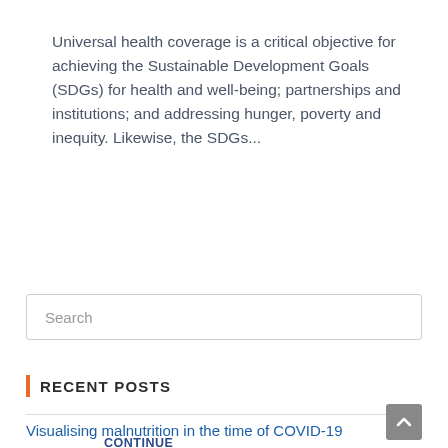Universal health coverage is a critical objective for achieving the Sustainable Development Goals (SDGs) for health and well-being; partnerships and institutions; and addressing hunger, poverty and inequity. Likewise, the SDGs...
CONTINUE READING >
Search
RECENT POSTS
Visualising malnutrition in the time of COVID-19